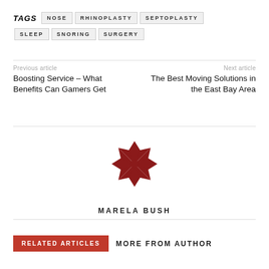TAGS  NOSE  RHINOPLASTY  SEPTOPLASTY  SLEEP  SNORING  SURGERY
Previous article
Next article
Boosting Service – What Benefits Can Gamers Get
The Best Moving Solutions in the East Bay Area
[Figure (logo): Decorative geometric snowflake/pinwheel logo in dark red]
MARELA BUSH
RELATED ARTICLES
MORE FROM AUTHOR